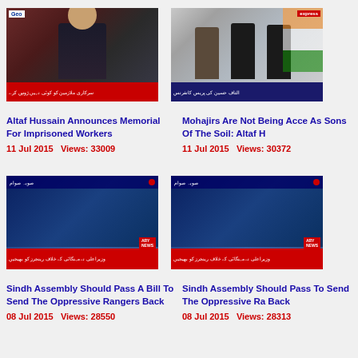[Figure (screenshot): Video thumbnail of a man in dark suit speaking at podium with Urdu text overlay, Geo News branding]
Altaf Hussain Announces Memorial For Imprisoned Workers
11 Jul 2015   Views: 33009
[Figure (screenshot): Video thumbnail of people standing in front of Indian flag at press conference, Express News branding]
Mohajirs Are Not Being Acce As Sons Of The Soil: Altaf H
11 Jul 2015   Views: 30372
[Figure (screenshot): Video thumbnail of two news anchors at ARY News desk with Urdu text overlay]
Sindh Assembly Should Pass A Bill To Send The Oppressive Rangers Back
08 Jul 2015   Views: 28550
[Figure (screenshot): Video thumbnail of two news anchors at ARY News desk with Urdu text overlay]
Sindh Assembly Should Pass To Send The Oppressive Ra Back
08 Jul 2015   Views: 28313